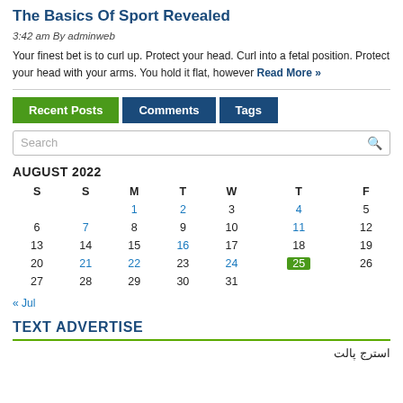The Basics Of Sport Revealed
3:42 am By adminweb
Your finest bet is to curl up. Protect your head. Curl into a fetal position. Protect your head with your arms. You hold it flat, however Read More »
| S | S | M | T | W | T | F |
| --- | --- | --- | --- | --- | --- | --- |
|  |  | 1 | 2 | 3 | 4 | 5 |
| 6 | 7 | 8 | 9 | 10 | 11 | 12 |
| 13 | 14 | 15 | 16 | 17 | 18 | 19 |
| 20 | 21 | 22 | 23 | 24 | 25 | 26 |
| 27 | 28 | 29 | 30 | 31 |  |  |
« Jul
TEXT ADVERTISE
استرج پالت